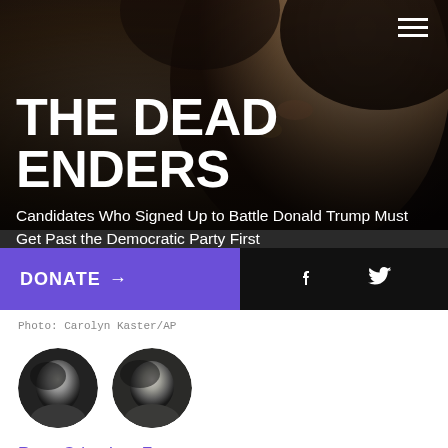[Figure (photo): Close-up black and white photograph of a woman's face, partially visible, used as hero background image]
THE DEAD ENDERS
Candidates Who Signed Up to Battle Donald Trump Must Get Past the Democratic Party First
DONATE →
Photo: Carolyn Kaster/AP
[Figure (photo): Black and white circular headshot photo of Ryan Grim]
[Figure (photo): Black and white circular headshot photo of Lee Fang]
Ryan Grim, Lee Fang
January 23 2018, 5:28 p.m.